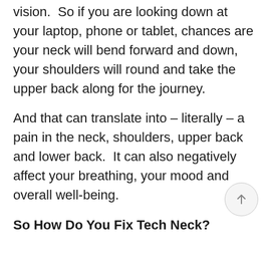vision.  So if you are looking down at your laptop, phone or tablet, chances are your neck will bend forward and down, your shoulders will round and take the upper back along for the journey.
And that can translate into – literally – a pain in the neck, shoulders, upper back and lower back.  It can also negatively affect your breathing, your mood and overall well-being.
So How Do You Fix Tech Neck?